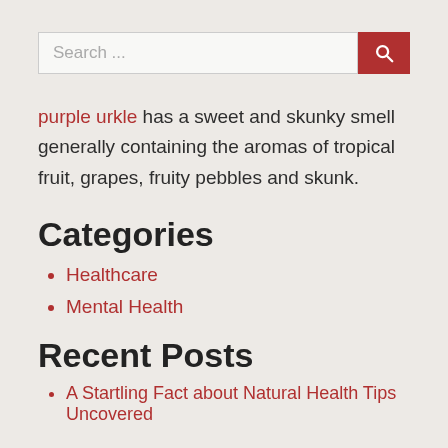Search ...
purple urkle has a sweet and skunky smell generally containing the aromas of tropical fruit, grapes, fruity pebbles and skunk.
Categories
Healthcare
Mental Health
Recent Posts
A Startling Fact about Natural Health Tips Uncovered